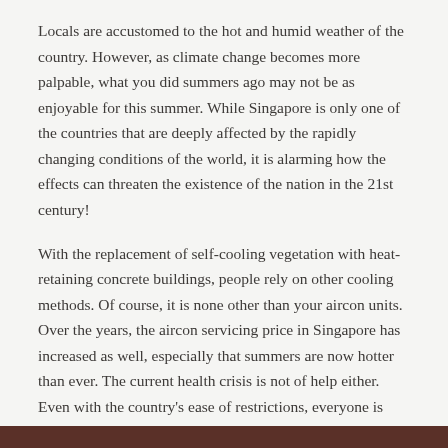Locals are accustomed to the hot and humid weather of the country. However, as climate change becomes more palpable, what you did summers ago may not be as enjoyable for this summer. While Singapore is only one of the countries that are deeply affected by the rapidly changing conditions of the world, it is alarming how the effects can threaten the existence of the nation in the 21st century!
With the replacement of self-cooling vegetation with heat-retaining concrete buildings, people rely on other cooling methods. Of course, it is none other than your aircon units. Over the years, the aircon servicing price in Singapore has increased as well, especially that summers are now hotter than ever. The current health crisis is not of help either. Even with the country's ease of restrictions, everyone is still encouraged to stay at home. Hence, with all of these in mind, what can you expect this summertime in the country?